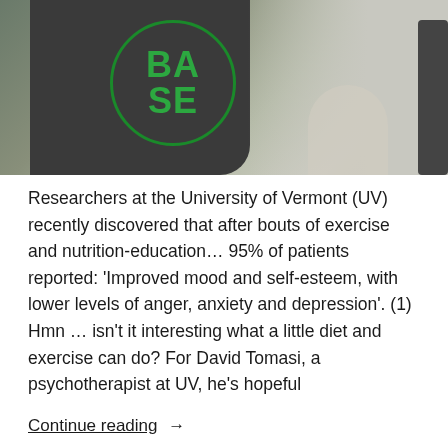[Figure (photo): Person wearing a dark grey t-shirt with a green circular logo reading 'BASE', gym equipment visible in background]
Researchers at the University of Vermont (UV) recently discovered that after bouts of exercise and nutrition-education… 95% of patients reported: 'Improved mood and self-esteem, with lower levels of anger, anxiety and depression'. (1) Hmn … isn't it interesting what a little diet and exercise can do? For David Tomasi, a psychotherapist at UV, he's hopeful
Continue reading →
MentalStrength.com   July 10, 2021   Uncategorized   Leave a comment